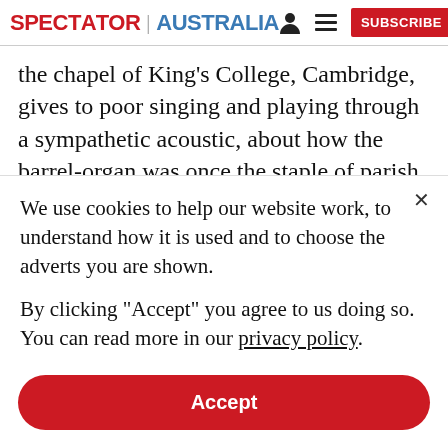SPECTATOR | AUSTRALIA [icons] SUBSCRIBE
the chapel of King’s College, Cambridge, gives to poor singing and playing through a sympathetic acoustic, about how the barrel-organ was once the staple of parish churches and, inevitably, about how the Victorians transformed everything. The revolution had
We use cookies to help our website work, to understand how it is used and to choose the adverts you are shown.
By clicking “Accept” you agree to us doing so. You can read more in our privacy policy.
Accept